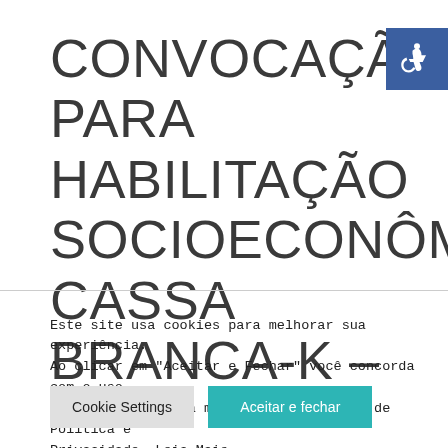CONVOCAÇÃO PARA HABILITAÇÃO SOCIOECONÔMICA CASSA BRANCA-K –
[Figure (other): Accessibility icon (wheelchair symbol) in blue square, top right corner]
Este site usa cookies para melhorar sua experiência. Ao clicar em "Aceitar e Fechar" você concorda com o uso dos cookies, saiba mais em nossa pagina de Politica e Privacidade. Leia Mais
Cookie Settings   Aceitar e fechar